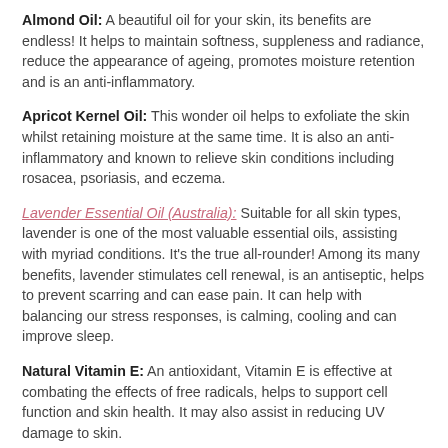Almond Oil: A beautiful oil for your skin, its benefits are endless! It helps to maintain softness, suppleness and radiance, reduce the appearance of ageing, promotes moisture retention and is an anti-inflammatory.
Apricot Kernel Oil: This wonder oil helps to exfoliate the skin whilst retaining moisture at the same time. It is also an anti-inflammatory and known to relieve skin conditions including rosacea, psoriasis, and eczema.
Lavender Essential Oil (Australia): Suitable for all skin types, lavender is one of the most valuable essential oils, assisting with myriad conditions. It's the true all-rounder! Among its many benefits, lavender stimulates cell renewal, is an antiseptic, helps to prevent scarring and can ease pain. It can help with balancing our stress responses, is calming, cooling and can improve sleep.
Natural Vitamin E: An antioxidant, Vitamin E is effective at combating the effects of free radicals, helps to support cell function and skin health. It may also assist in reducing UV damage to skin.